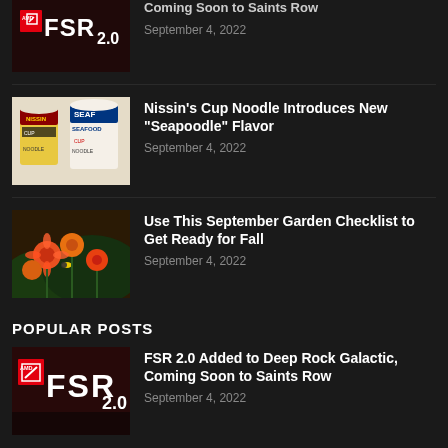[Figure (photo): AMD FSR 2.0 logo on dark red/black background, partially cropped at top]
Coming Soon to Saints Row
September 4, 2022
[Figure (photo): Nissin Cup Noodle cups with Curry and Seafood flavors on white background]
Nissin's Cup Noodle Introduces New "Seapoodle" Flavor
September 4, 2022
[Figure (photo): Orange and red flowers (helenium) with a bee, autumn garden scene]
Use This September Garden Checklist to Get Ready for Fall
September 4, 2022
POPULAR POSTS
[Figure (photo): AMD FSR 2.0 logo on dark red/black background]
FSR 2.0 Added to Deep Rock Galactic, Coming Soon to Saints Row
September 4, 2022